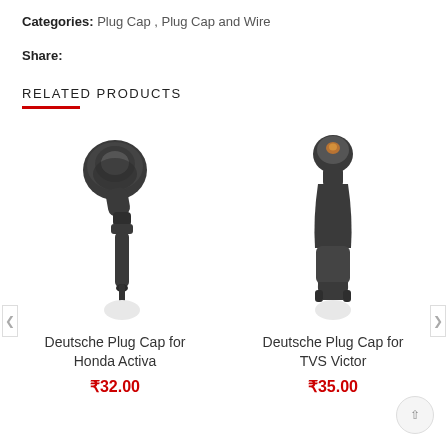Categories: Plug Cap, Plug Cap and Wire
Share:
RELATED PRODUCTS
[Figure (photo): Deutsche Plug Cap for Honda Activa - black rubber angled plug cap with wire]
Deutsche Plug Cap for Honda Activa
₹32.00
[Figure (photo): Deutsche Plug Cap for TVS Victor - black rubber straight plug cap]
Deutsche Plug Cap for TVS Victor
₹35.00